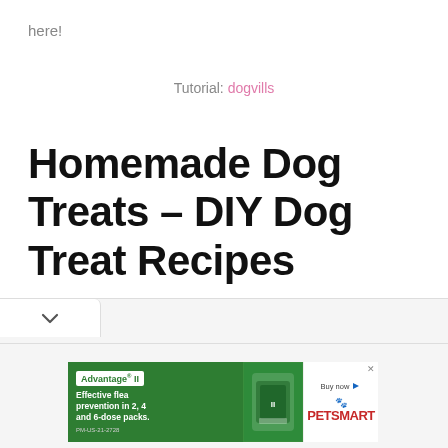here!
Tutorial: dogvills
Homemade Dog Treats – DIY Dog Treat Recipes
[Figure (screenshot): A dropdown/tab UI element with a chevron/arrow button on a light grey background]
[Figure (screenshot): Advertisement banner for Advantage II flea prevention, showing product image and PetSmart branding with text 'Effective flea prevention in 2, 4 and 6-dose packs.']